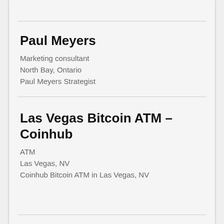Paul Meyers
Marketing consultant
North Bay, Ontario
Paul Meyers Strategist
Las Vegas Bitcoin ATM – Coinhub
ATM
Las Vegas, NV
Coinhub Bitcoin ATM in Las Vegas, NV